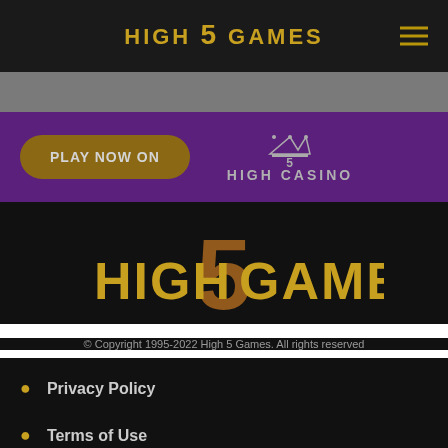[Figure (logo): High 5 Games logo in gold/yellow on dark background in navigation bar]
[Figure (logo): High 5 Casino logo with crown icon in purple band, alongside PLAY NOW ON button]
[Figure (logo): Large High 5 Games logo centered on black background]
© Copyright 1995-2022 High 5 Games. All rights reserved
Privacy Policy
Terms of Use
Legal Notice (partial)